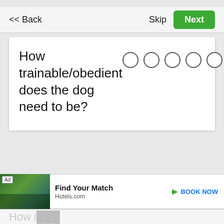<< Back
Skip
Next
How trainable/obedient does the dog need to be?
<< Back
Skip
Next
[Figure (screenshot): Ad banner: Hotels.com ad with tropical resort image. Text: 'Find Your Match', 'Hotels.com', 'BOOK NOW']
How i...